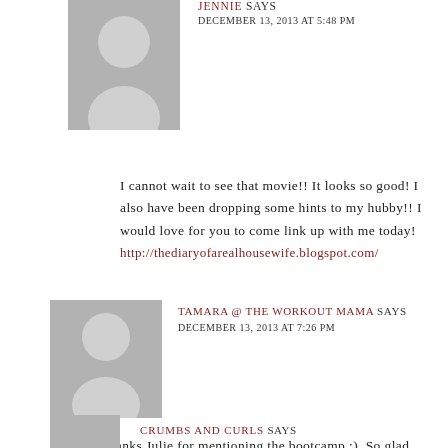[Figure (photo): Gray placeholder avatar for Jennie]
JENNIE SAYS
DECEMBER 13, 2013 AT 5:48 PM
I cannot wait to see that movie!! It looks so good! I also have been dropping some hints to my hubby!! I would love for you to come link up with me today!
http://thediaryofarealhousewife.blogspot.com/
[Figure (photo): Gray placeholder avatar for Tamara @ The Workout Mama]
TAMARA @ THE WORKOUT MAMA SAYS
DECEMBER 13, 2013 AT 7:26 PM
Thanks Julie for mentioning the bootcamp :). So glad you enjoyed your session!
[Figure (photo): Gray placeholder avatar for Crumbs and Curls]
CRUMBS AND CURLS SAYS